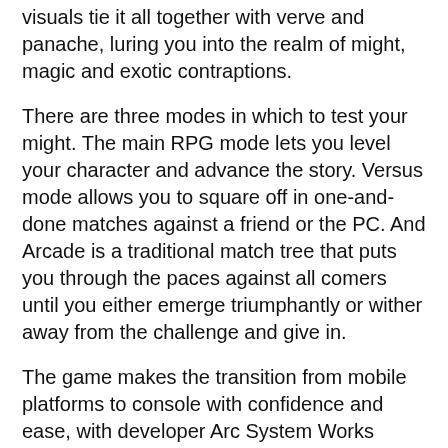visuals tie it all together with verve and panache, luring you into the realm of might, magic and exotic contraptions.
There are three modes in which to test your might. The main RPG mode lets you level your character and advance the story. Versus mode allows you to square off in one-and-done matches against a friend or the PC. And Arcade is a traditional match tree that puts you through the paces against all comers until you either emerge triumphantly or wither away from the challenge and give in.
The game makes the transition from mobile platforms to console with confidence and ease, with developer Arc System Works taking advantage of the additional power and visual fidelity to make the game feel as though it were built from the ground up for the PS4.
Those familiar with Arc's contributions to the likes of "BlazBlue" and "Guilty Gear" will feel right at home in the frenzied yet fair strike-parry-block metagame of mental wrestling.
"Crumbles Tournament" arrow text continues below...